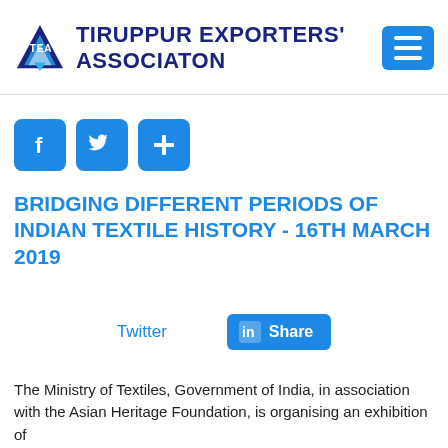[Figure (logo): TEA Tiruppur Exporters' Association logo with triangle/arrow graphic and text]
[Figure (infographic): Blue hamburger/menu button icon with three horizontal lines]
[Figure (infographic): Social media share buttons: Facebook (f), Twitter (bird), and plus (+) icons in blue rounded squares]
BRIDGING DIFFERENT PERIODS OF INDIAN TEXTILE HISTORY - 16TH MARCH 2019
[Figure (infographic): Twitter text link and LinkedIn Share button with 'in Share' label]
The Ministry of Textiles, Government of India, in association with the Asian Heritage Foundation, is organising an exhibition of